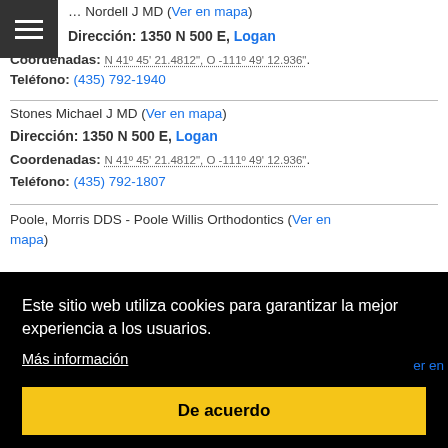... Nordell J MD (Ver en mapa)
Dirección: 1350 N 500 E, Logan
Coordenadas: N 41° 45' 21.4812", O -111° 49' 12.936".
Teléfono: (435) 792-1940
Stones Michael J MD (Ver en mapa)
Dirección: 1350 N 500 E, Logan
Coordenadas: N 41° 45' 21.4812", O -111° 49' 12.936".
Teléfono: (435) 792-1807
Poole, Morris DDS - Poole Willis Orthodontics (Ver en mapa)
Este sitio web utiliza cookies para garantizar la mejor experiencia a los usuarios. Más información De acuerdo
Budge Clinic (Ver en mapa)